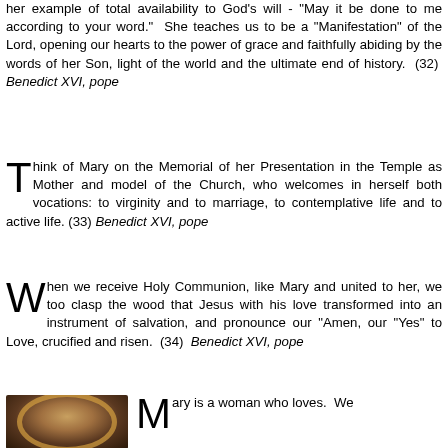her example of total availability to God's will - "May it be done to me according to your word." She teaches us to be a "Manifestation" of the Lord, opening our hearts to the power of grace and faithfully abiding by the words of her Son, light of the world and the ultimate end of history. (32) Benedict XVI, pope
Think of Mary on the Memorial of her Presentation in the Temple as Mother and model of the Church, who welcomes in herself both vocations: to virginity and to marriage, to contemplative life and to active life. (33) Benedict XVI, pope
When we receive Holy Communion, like Mary and united to her, we too clasp the wood that Jesus with his love transformed into an instrument of salvation, and pronounce our "Amen, our "Yes" to Love, crucified and risen. (34) Benedict XVI, pope
Mary is a woman who loves. We